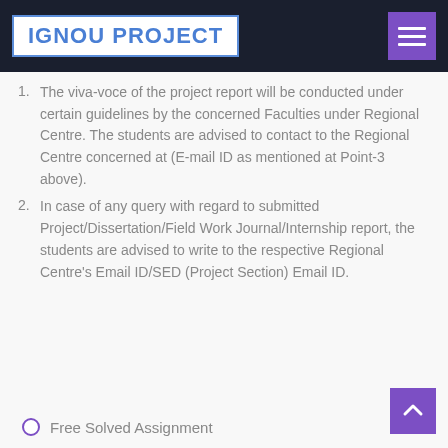IGNOU PROJECT
The viva-voce of the project report will be conducted under certain guidelines by the concerned Faculties under Regional Centre. The students are advised to contact to the Regional Centre concerned at (E-mail ID as mentioned at Point-3 above).
In case of any query with regard to submitted Project/Dissertation/Field Work Journal/Internship report, the students are advised to write to the respective Regional Centre's Email ID/SED (Project Section) Email ID.
Free Solved Assignment